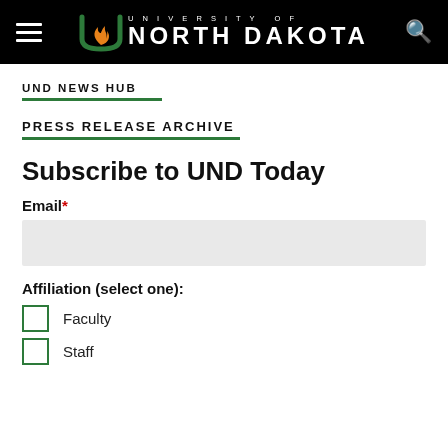University of North Dakota
UND NEWS HUB
PRESS RELEASE ARCHIVE
Subscribe to UND Today
Email*
Affiliation (select one):
Faculty
Staff